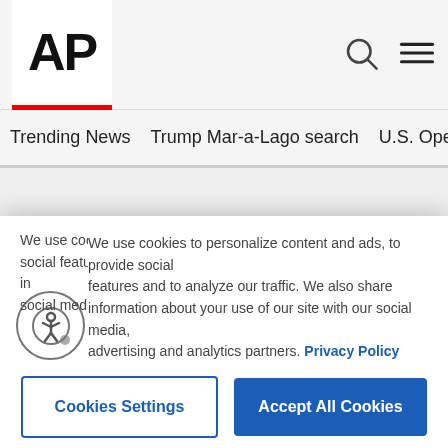AP
Trending News
Trump Mar-a-Lago search
U.S. Open Tennis
[Figure (photo): Partial photo visible in lower right corner of main content area]
We use cookies to personalize content and ads, to provide social features and to analyze our traffic. We also share information about your use of our site with our social media, advertising and analytics partners. Privacy Policy
Cookies Settings
Accept All Cookies